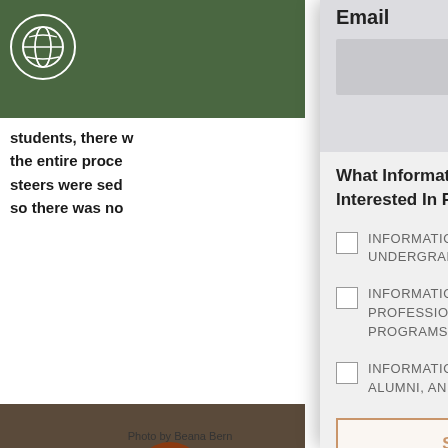[Figure (screenshot): Green header bar with white circular globe/arrow logo on left side]
students, there w the entire proce steers were sed so there was no
[Figure (photo): Woman with red hair bending over and examining a black animal (likely cattle)]
Email
What Information Are You Interested In Receiving? *
INFORMATION FOR UNDERGRADUATE PROGRAMS
INFORMATION FOR PROFESSIONAL STUDIES PROGRAMS
INFORMATION FOR COMMUNITY, ALUMNI, AND FRIENDS
SUBMIT
Photo by Beana Bern